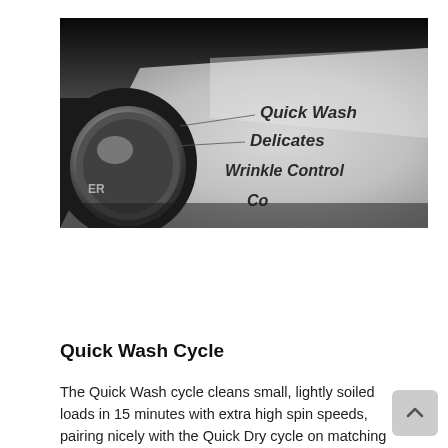[Figure (photo): Close-up black and white photo of a washing machine control knob and panel showing cycle labels: Quick Wash, Delicates, Wrinkle Control, and partially visible text below.]
Quick Wash Cycle
The Quick Wash cycle cleans small, lightly soiled loads in 15 minutes with extra high spin speeds, pairing nicely with the Quick Dry cycle on matching